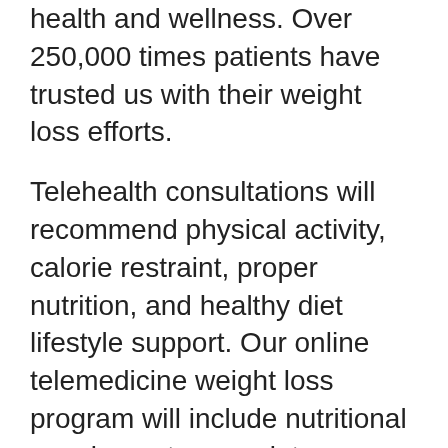health and wellness. Over 250,000 times patients have trusted us with their weight loss efforts.
Telehealth consultations will recommend physical activity, calorie restraint, proper nutrition, and healthy diet lifestyle support. Our online telemedicine weight loss program will include nutritional supplements, proprietary supplements, and FDA-approved prescription weight-loss medications. Medication prescriptions depend upon our medical provider's recommendations.
6 Day Weight Loss has helped patients lose weight for over sixteen years. Weight loss in Newport Beach is about more than